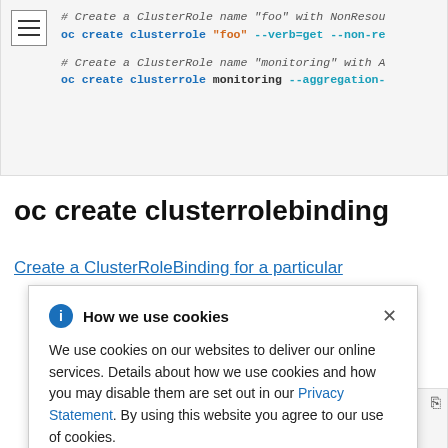[Figure (screenshot): Code block showing oc create clusterrole commands with comments, with a hamburger menu icon on the left]
oc create clusterrolebinding
Create a ClusterRoleBinding for a particular
[Figure (screenshot): Cookie consent dialog: 'How we use cookies' with info icon and close button. Text: We use cookies on our websites to deliver our online services. Details about how we use cookies and how you may disable them are set out in our Privacy Statement. By using this website you agree to our use of cookies.]